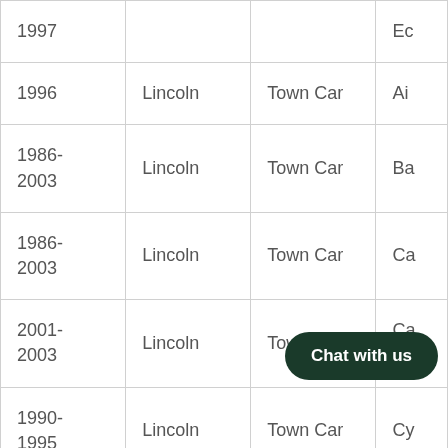| Year | Make | Model | Category |
| --- | --- | --- | --- |
| 1997 |  |  | Ec… |
| 1996 | Lincoln | Town Car | Ai… |
| 1986-2003 | Lincoln | Town Car | Ba… |
| 1986-2003 | Lincoln | Town Car | Ca… |
| 2001-2003 | Lincoln | Town Car | Ca… L… |
| 1990-1995 | Lincoln | Town Car | Cy… |
| 2006-2007 | Lincoln | To… | De… Se… |
| 1990- |  |  |  |